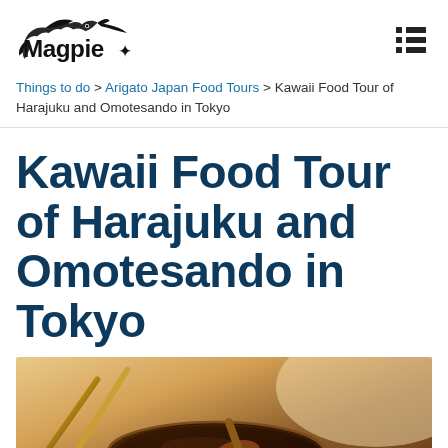Magpie [logo with bird]
Things to do > Arigato Japan Food Tours > Kawaii Food Tour of Harajuku and Omotesando in Tokyo
Kawaii Food Tour of Harajuku and Omotesando in Tokyo
[Figure (photo): Close-up photo of chopsticks resting on a dark bowl filled with dark sauce (likely soy sauce or miso), warm amber tones, Japanese dining setting]